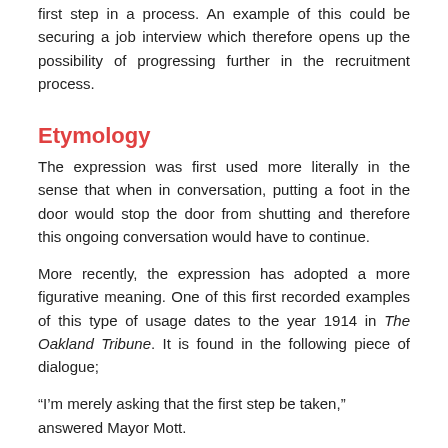first step in a process. An example of this could be securing a job interview which therefore opens up the possibility of progressing further in the recruitment process.
Etymology
The expression was first used more literally in the sense that when in conversation, putting a foot in the door would stop the door from shutting and therefore this ongoing conversation would have to continue.
More recently, the expression has adopted a more figurative meaning. One of this first recorded examples of this type of usage dates to the year 1914 in The Oakland Tribune. It is found in the following piece of dialogue;
“I’m merely asking that the first step be taken,” answered Mayor Mott.
“You’ve got a mighty clever way of getting your foot in the door, and then we can’t get it closed until the whole proposition is carried”, said Turner.